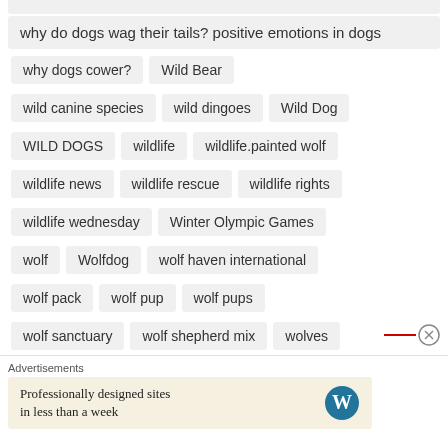why do dogs wag their tails? positive emotions in dogs
why dogs cower?
Wild Bear
wild canine species
wild dingoes
Wild Dog
WILD DOGS
wildlife
wildlife.painted wolf
wildlife news
wildlife rescue
wildlife rights
wildlife wednesday
Winter Olympic Games
wolf
Wolfdog
wolf haven international
wolf pack
wolf pup
wolf pups
wolf sanctuary
wolf shepherd mix
wolves
Advertisements
Professionally designed sites in less than a week